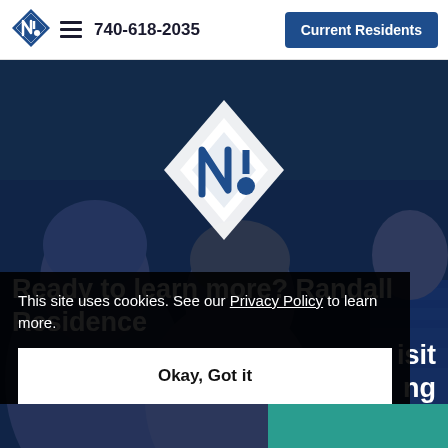[Figure (logo): Randall Residence diamond-shaped logo mark in top-left header]
740-618-2035
Current Residents
[Figure (photo): Hero background photo of elderly residents outdoors with dark blue overlay and large white diamond logo centered]
Ready to learn more? Randall Residence
This site uses cookies. See our Privacy Policy to learn more.
Okay, Got it